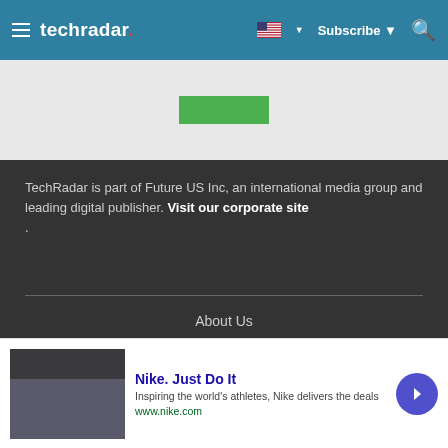techradar — Subscribe
[Figure (screenshot): Partial ad banner with green button]
TechRadar is part of Future US Inc, an international media group and leading digital publisher. Visit our corporate site .
About Us
Contact Us
Terms and conditions
[Figure (screenshot): Nike advertisement: Nike. Just Do It — Inspiring the world's athletes, Nike delivers the deals — www.nike.com]